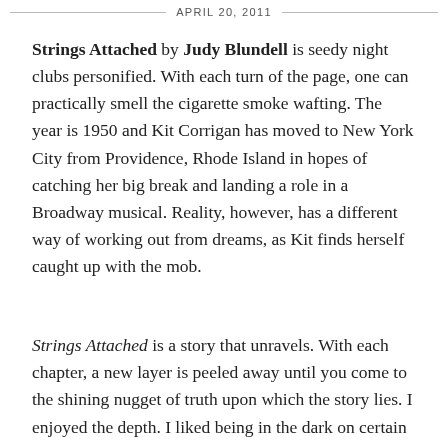APRIL 20, 2011
Strings Attached by Judy Blundell is seedy night clubs personified. With each turn of the page, one can practically smell the cigarette smoke wafting. The year is 1950 and Kit Corrigan has moved to New York City from Providence, Rhode Island in hopes of catching her big break and landing a role in a Broadway musical. Reality, however, has a different way of working out from dreams, as Kit finds herself caught up with the mob.
Strings Attached is a story that unravels. With each chapter, a new layer is peeled away until you come to the shining nugget of truth upon which the story lies. I enjoyed the depth. I liked being in the dark on certain characters. There's a complexity to Judy Blundell's writing that I think YA fans will be into.
Add in the perfect blend of my favorite historical fiction elements, and we've got a new favorite. The atmosphere is excellent, so